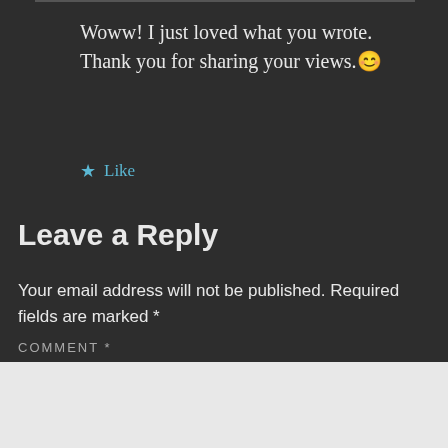Woww! I just loved what you wrote. Thank you for sharing your views. 😊
★ Like
Leave a Reply
Your email address will not be published. Required fields are marked *
COMMENT *
[Figure (infographic): Tumblr Ad-Free Browsing advertisement banner showing $39.99 a year or $4.99 a month pricing]
Advertisements